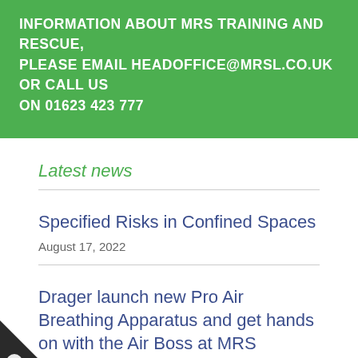INFORMATION ABOUT MRS TRAINING AND RESCUE, PLEASE EMAIL HEADOFFICE@MRSL.CO.UK OR CALL US ON 01623 423 777
Latest news
Specified Risks in Confined Spaces
August 17, 2022
Drager launch new Pro Air Breathing Apparatus and get hands on with the Air Boss at MRS Training & Rescue